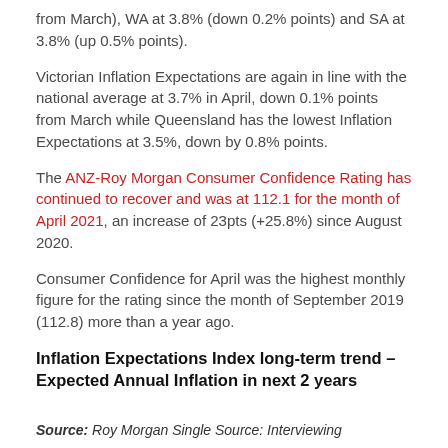from March), WA at 3.8% (down 0.2% points) and SA at 3.8% (up 0.5% points).
Victorian Inflation Expectations are again in line with the national average at 3.7% in April, down 0.1% points from March while Queensland has the lowest Inflation Expectations at 3.5%, down by 0.8% points.
The ANZ-Roy Morgan Consumer Confidence Rating has continued to recover and was at 112.1 for the month of April 2021, an increase of 23pts (+25.8%) since August 2020.
Consumer Confidence for April was the highest monthly figure for the rating since the month of September 2019 (112.8) more than a year ago.
Inflation Expectations Index long-term trend – Expected Annual Inflation in next 2 years
Source: Roy Morgan Single Source: Interviewing